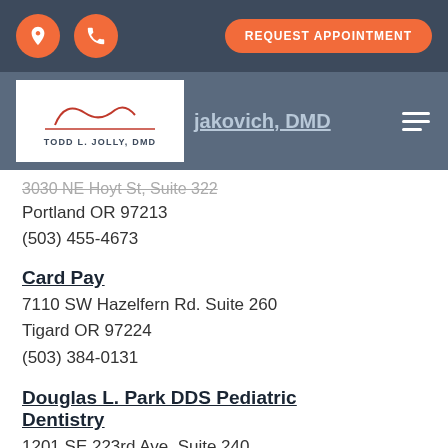REQUEST APPOINTMENT
[Figure (logo): Todd L. Jolly, DMD logo with cursive script and red underline]
jakovich, DMD (partially visible)
3030 NE Hoyt St, Suite 322 (partially struck through)
Portland OR 97213
(503) 455-4673
Card Pay
7110 SW Hazelfern Rd. Suite 260
Tigard OR 97224
(503) 384-0131
Douglas L. Park DDS Pediatric Dentistry
1201 SE 223rd Ave. Suite 240
Gresham OR 97030